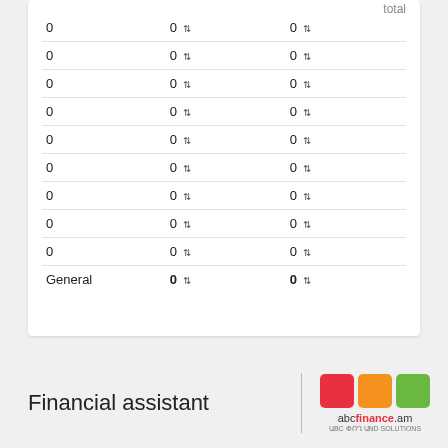|  |  | total |
| --- | --- | --- |
| 0 | 0 ↕ | 0 ↕ |
| 0 | 0 ↕ | 0 ↕ |
| 0 | 0 ↕ | 0 ↕ |
| 0 | 0 ↕ | 0 ↕ |
| 0 | 0 ↕ | 0 ↕ |
| 0 | 0 ↕ | 0 ↕ |
| 0 | 0 ↕ | 0 ↕ |
| 0 | 0 ↕ | 0 ↕ |
| 0 | 0 ↕ | 0 ↕ |
| General | 0 ↕ | 0 ↕ |
Financial assistant
[Figure (logo): abcfinance.am logo with three colored squares (red, orange, green) and text]